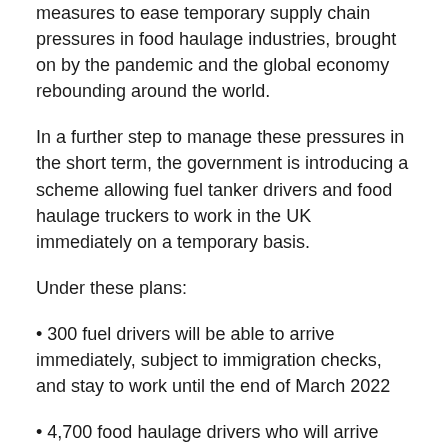measures to ease temporary supply chain pressures in food haulage industries, brought on by the pandemic and the global economy rebounding around the world.
In a further step to manage these pressures in the short term, the government is introducing a scheme allowing fuel tanker drivers and food haulage truckers to work in the UK immediately on a temporary basis.
Under these plans:
• 300 fuel drivers will be able to arrive immediately, subject to immigration checks, and stay to work until the end of March 2022
• 4,700 food haulage drivers who will arrive from late October and leave by 28 February 2022